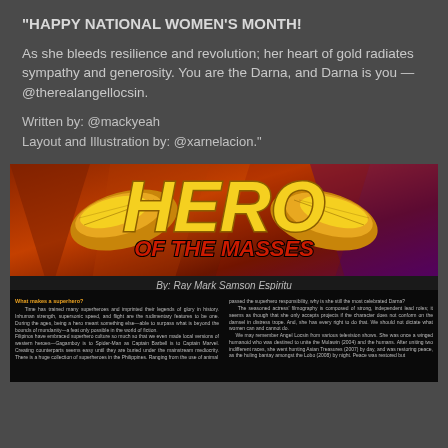"HAPPY NATIONAL WOMEN'S MONTH!
As she bleeds resilience and revolution; her heart of gold radiates sympathy and generosity. You are the Darna, and Darna is you — @therealangellocsin.
Written by: @mackyeah
Layout and Illustration by: @xarnelacion."
[Figure (illustration): Comic book style illustration with 'HERO OF THE MASSES' title with golden wings, on a red/purple gradient background, with two-column article text below on black background. By: Ray Mark Samson Espiritu. Article about Filipino superheroes and Angel Locsin.]